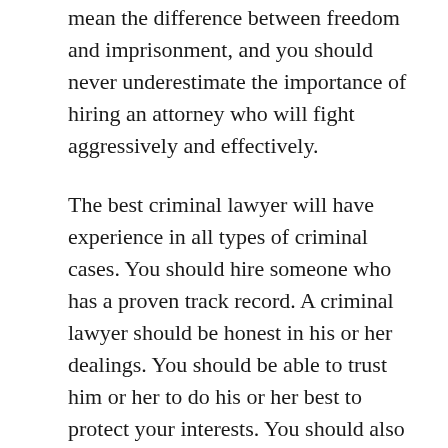mean the difference between freedom and imprisonment, and you should never underestimate the importance of hiring an attorney who will fight aggressively and effectively.
The best criminal lawyer will have experience in all types of criminal cases. You should hire someone who has a proven track record. A criminal lawyer should be honest in his or her dealings. You should be able to trust him or her to do his or her best to protect your interests. You should also be able to communicate with him or her in a friendly manner. If you are looking for a New York criminal lawyer, consider hiring Steven Raiser. This attorney